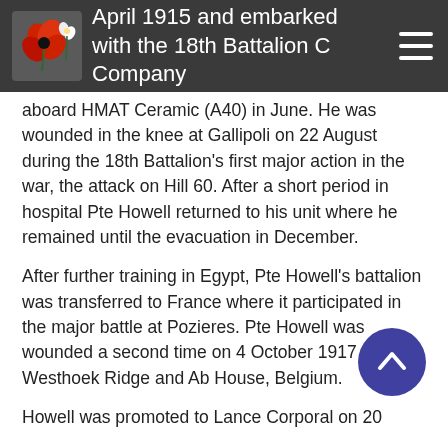...April 1915 and embarked with the 18th Battalion C Company aboard HMAT Ceramic (A40) in June.
aboard HMAT Ceramic (A40) in June. He was wounded in the knee at Gallipoli on 22 August during the 18th Battalion's first major action in the war, the attack on Hill 60. After a short period in hospital Pte Howell returned to his unit where he remained until the evacuation in December.
After further training in Egypt, Pte Howell's battalion was transferred to France where it participated in the major battle at Pozieres. Pte Howell was wounded a second time on 4 October 1917 near Westhoek Ridge and Ab House, Belgium.
Howell was promoted to Lance Corporal on 20